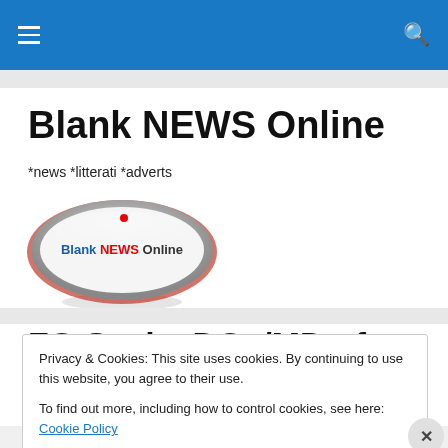Blank NEWS Online — navigation bar with hamburger menu and search icon
Blank NEWS Online
*news *litterati *adverts
[Figure (logo): Oval logo with silver/gray gradient border and red accent, text 'Blank NEWS Online' inside, red and blue colored text]
FG Sacks DGs/MD of NAN
Privacy & Cookies: This site uses cookies. By continuing to use this website, you agree to their use.
To find out more, including how to control cookies, see here: Cookie Policy
Close and accept
Advertisements